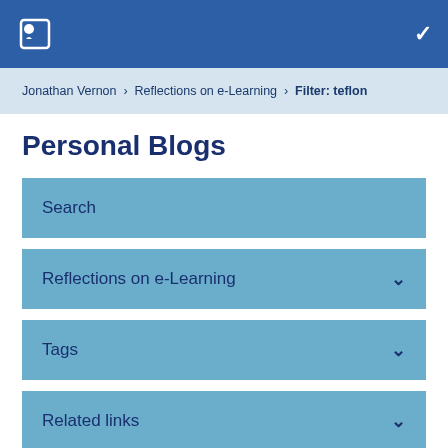OU logo header with chevron
Jonathan Vernon > Reflections on e-Learning > Filter: teflon
Personal Blogs
Search
Reflections on e-Learning
Tags
Related links
Blog usage